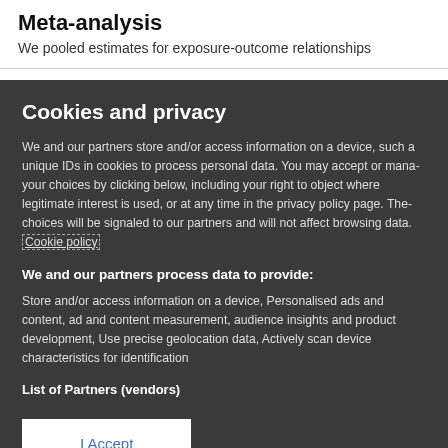Meta-analysis
We pooled estimates for exposure-outcome relationships
Cookies and privacy
We and our partners store and/or access information on a device, such as unique IDs in cookies to process personal data. You may accept or manage your choices by clicking below, including your right to object where legitimate interest is used, or at any time in the privacy policy page. These choices will be signaled to our partners and will not affect browsing data. Cookie policy
We and our partners process data to provide:
Store and/or access information on a device, Personalised ads and content, ad and content measurement, audience insights and product development, Use precise geolocation data, Actively scan device characteristics for identification
List of Partners (vendors)
I Accept